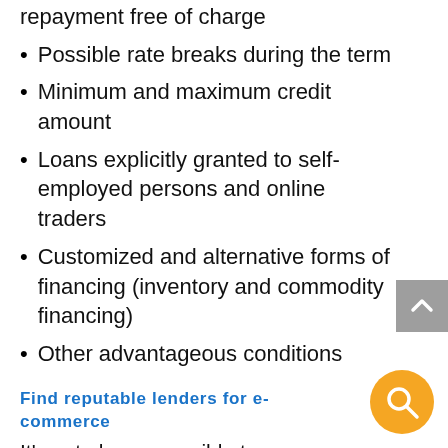repayment free of charge
Possible rate breaks during the term
Minimum and maximum credit amount
Loans explicitly granted to self-employed persons and online traders
Customized and alternative forms of financing (inventory and commodity financing)
Other advantageous conditions
Find reputable lenders for e-commerce
It's not always possible to